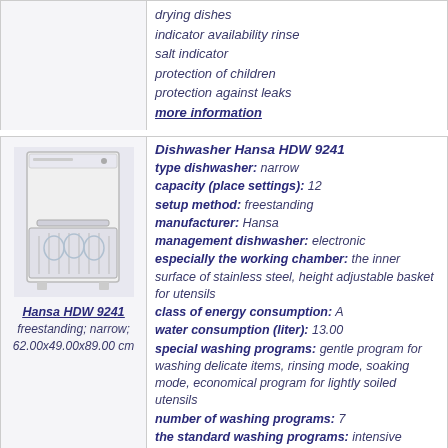drying dishes
indicator availability rinse
salt indicator
protection of children
protection against leaks
more information
Dishwasher Hansa HDW 9241
type dishwasher: narrow
capacity (place settings): 12
setup method: freestanding
manufacturer: Hansa
management dishwasher: electronic
especially the working chamber: the inner surface of stainless steel, height adjustable basket for utensils
class of energy consumption: A
water consumption (liter): 13.00
special washing programs: gentle program for washing delicate items, rinsing mode, soaking mode, economical program for lightly soiled utensils
number of washing programs: 7
the standard washing programs: intensive program for heavily utensils, express program (fast cycle), regular daily cleaning program
washing efficiency class: A
drying efficiency class: A
number of temperature regimes: 3
width (cm): 49.00
height (cm): 89.00
depth (cm): 62.00
[Figure (photo): White freestanding narrow dishwasher Hansa HDW 9241 with open door showing dish baskets]
Hansa HDW 9241
freestanding; narrow; 62.00x49.00x89.00 cm